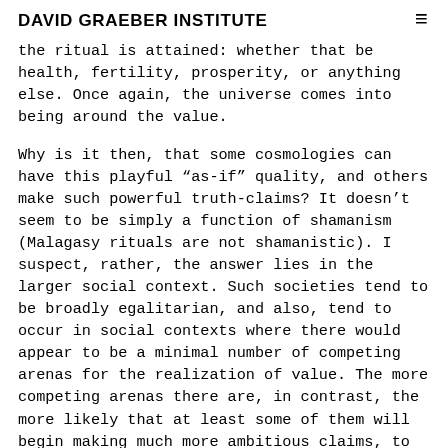DAVID GRAEBER INSTITUTE
the ritual is attained: whether that be health, fertility, prosperity, or anything else. Once again, the universe comes into being around the value.
Why is it then, that some cosmologies can have this playful “as-if” quality, and others make such powerful truth-claims? It doesn’t seem to be simply a function of shamanism (Malagasy rituals are not shamanistic). I suspect, rather, the answer lies in the larger social context. Such societies tend to be broadly egalitarian, and also, tend to occur in social contexts where there would appear to be a minimal number of competing arenas for the realization of value. The more competing arenas there are, in contrast, the more likely that at least some of them will begin making much more ambitious claims, to personal